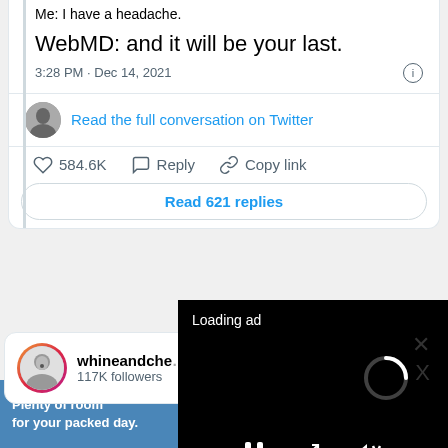Me: I have a headache.
WebMD: and it will be your last.
3:28 PM · Dec 14, 2021
Read the full conversation on Twitter
584.6K   Reply   Copy link
Read 621 replies
whineandche
117K followers
[Figure (screenshot): Video ad overlay showing 'Loading ad' text and a loading spinner on black background with video controls (pause, fullscreen, mute buttons) and a progress bar]
Advertisements
[Figure (screenshot): Subaru advertisement banner showing 'Plenty of room for your packed day.' text with SUV image and Subaru logo with Explore button]